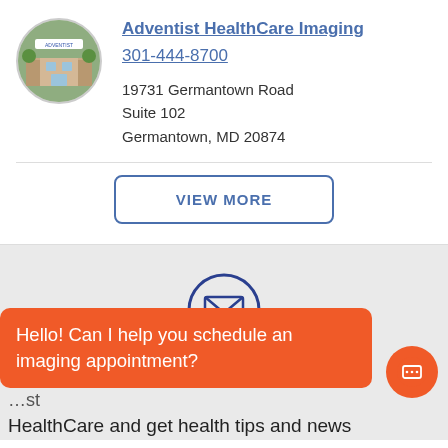[Figure (photo): Circular thumbnail photo of Adventist HealthCare Imaging building exterior (brick, glass entry)]
Adventist HealthCare Imaging
301-444-8700
19731 Germantown Road
Suite 102
Germantown, MD 20874
VIEW MORE
[Figure (illustration): Email envelope icon inside a circle outline, dark blue stroke]
Hello! Can I help you schedule an imaging appointment?
HealthCare and get health tips and news